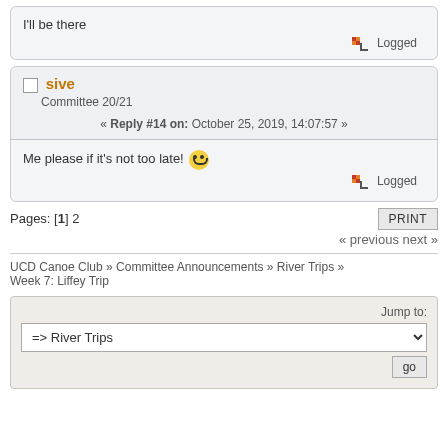I'll be there
Logged
sive
Committee 20/21
« Reply #14 on: October 25, 2019, 14:07:57 »
Me please if it's not too late! 😀
Logged
Pages: [1] 2
« previous next »
UCD Canoe Club » Committee Announcements » River Trips » Week 7: Liffey Trip
Jump to:
=> River Trips
go